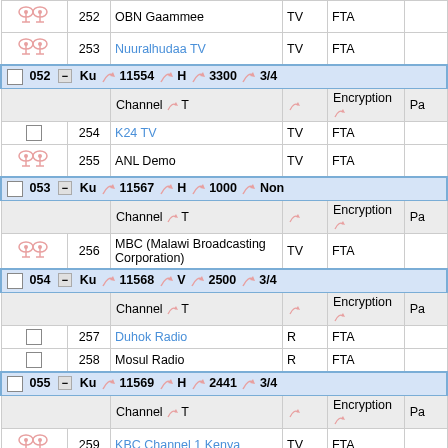| icon | # | Channel | T | Encryption | Pa |
| --- | --- | --- | --- | --- | --- |
| [icon] | 252 | OBN Gaammee | TV | FTA |  |
| [icon] | 253 | Nuuralhudaa TV | TV | FTA |  |
| [sat] | 052 | Ku 11554 H 3300 3/4 |  |  |  |
|  |  | Channel T Encryption Pa |  |  |  |
| [check] | 254 | K24 TV | TV | FTA |  |
| [icon] | 255 | ANL Demo | TV | FTA |  |
| [sat] | 053 | Ku 11567 H 1000 Non |  |  |  |
|  |  | Channel T Encryption Pa |  |  |  |
| [icon] | 256 | MBC (Malawi Broadcasting Corporation) | TV | FTA |  |
| [sat] | 054 | Ku 11568 V 2500 3/4 |  |  |  |
|  |  | Channel T Encryption Pa |  |  |  |
| [check] | 257 | Duhok Radio | R | FTA |  |
| [check] | 258 | Mosul Radio | R | FTA |  |
| [sat] | 055 | Ku 11569 H 2441 3/4 |  |  |  |
|  |  | Channel T Encryption Pa |  |  |  |
| [icon] | 259 | KBC Channel 1 Kenya | TV | FTA |  |
| [sat] | 056 | Ku 11585 H 10750 3/4 |  |  |  |
|  |  | Channel T Encryption Pa |  |  |  |